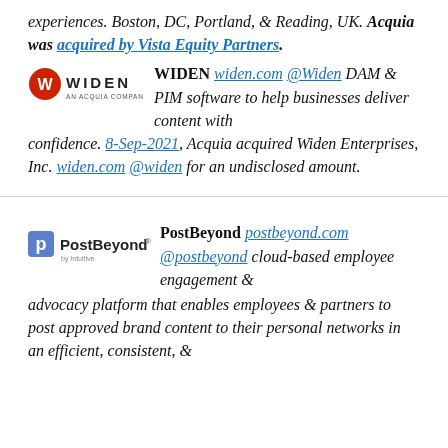experiences. Boston, DC, Portland, & Reading, UK. Acquia was acquired by Vista Equity Partners.
WIDEN widen.com @Widen DAM & PIM software to help businesses deliver content with confidence. 8-Sep-2021, Acquia acquired Widen Enterprises, Inc. widen.com @widen for an undisclosed amount.
PostBeyond postbeyond.com @postbeyond cloud-based employee engagement & advocacy platform that enables employees & partners to post approved brand content to their personal networks in an efficient, consistent, &